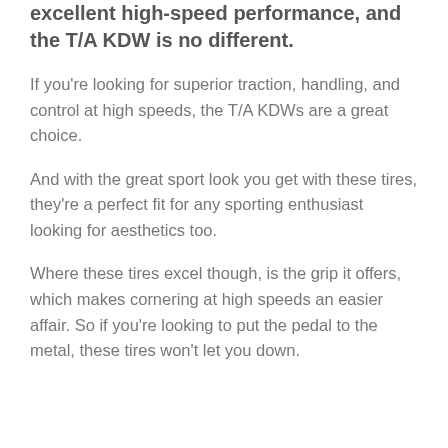excellent high-speed performance, and the T/A KDW is no different.
If you're looking for superior traction, handling, and control at high speeds, the T/A KDWs are a great choice.
And with the great sport look you get with these tires, they're a perfect fit for any sporting enthusiast looking for aesthetics too.
Where these tires excel though, is the grip it offers, which makes cornering at high speeds an easier affair. So if you're looking to put the pedal to the metal, these tires won't let you down.